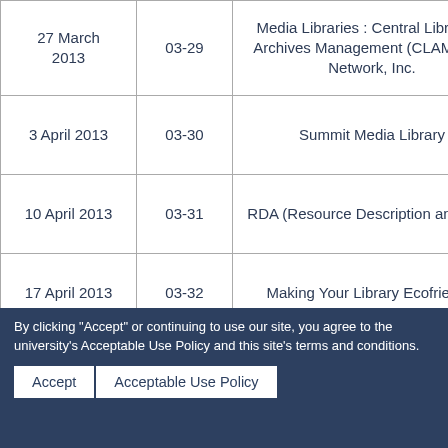| Date | Episode | Topic |
| --- | --- | --- |
| 27 March 2013 | 03-29 | Media Libraries : Central Library and Archives Management (CLAM) of G Network, Inc. |
| 3 April 2013 | 03-30 | Summit Media Library |
| 10 April 2013 | 03-31 | RDA (Resource Description and Acco... |
| 17 April 2013 | 03-32 | Making Your Library Ecofriendly |
| 24 April 2013 | 03-33 | Graduation Traditions in UP |
| 8 May 2013 | 03-34 | Records Management as an LIS car option |
| 15 May 2013 | 03-35 | LIS Career as School Libraria... |
By clicking "Accept" or continuing to use our site, you agree to the university's Acceptable Use Policy and this site's terms and conditions.